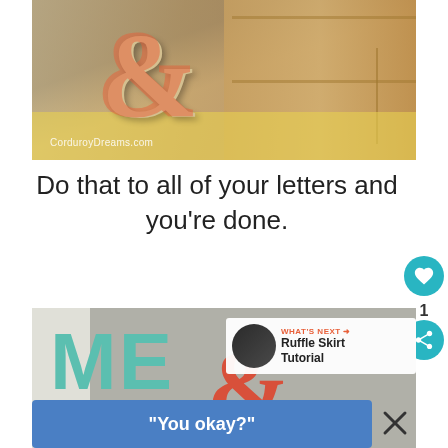[Figure (photo): Photo of a decorative ampersand letter with coral/pink patterned border, held up against a wooden crate with a yellow patterned tablecloth. Watermark reads 'CorduroyDreams.com'.]
Do that to all of your letters and you're done.
[Figure (photo): Photo showing teal/mint letters 'ME' and a coral/red ampersand '&' on a gray background. Overlay shows 'WHAT'S NEXT → Ruffle Skirt Tutorial' with a thumbnail. A blue ad banner at the bottom reads '"You okay?"'.]